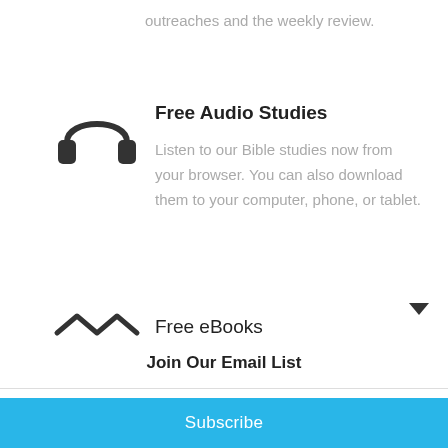outreaches and the weekly review.
Free Audio Studies
Listen to our Bible studies now from your browser. You can also download them to your computer, phone, or tablet.
[Figure (illustration): Headphones icon in dark gray]
[Figure (illustration): Email/envelope wave icon in dark gray]
Free eBooks
Join Our Email List
Your email address
Subscribe